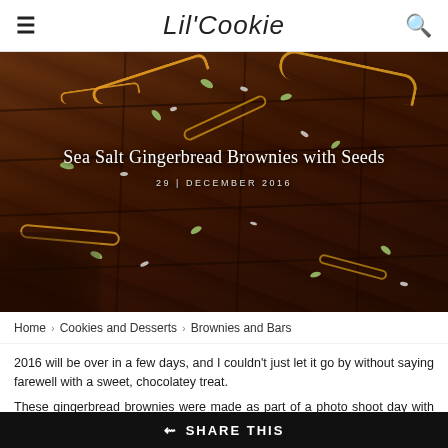Lil'Cookie
[Figure (photo): Hero photo of chocolate gingerbread brownies topped with pumpkin seeds, sunflower seeds, and curled orange peel strips, displayed on a dark background with title overlay 'Sea Salt Gingerbread Brownies with Seeds' and date '29 | DECEMBER 2016']
Sea Salt Gingerbread Brownies with Seeds
29 | DECEMBER 2016
Home > Cookies and Desserts > Brownies and Bars
2016 will be over in a few days, and I couldn't just let it go by without saying farewell with a sweet, chocolatey treat.
These gingerbread brownies were made as part of a photo shoot day with the talented Neta, who is one of the most brilliant food photographers in Israel.
SHARE THIS